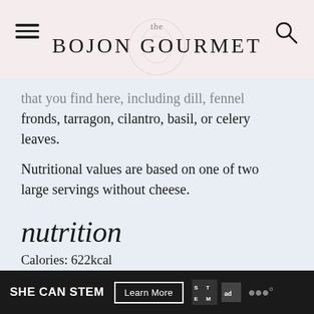the BOJON GOURMET
that you find here, including dill, fennel fronds, tarragon, cilantro, basil, or celery leaves.
Nutritional values are based on one of two large servings without cheese.
nutrition
Calories: 622kcal
Carbohydrates: 46g
Protein: 20g
Fat: 62g
Saturated Fat: 7g
SHE CAN STEM Learn More